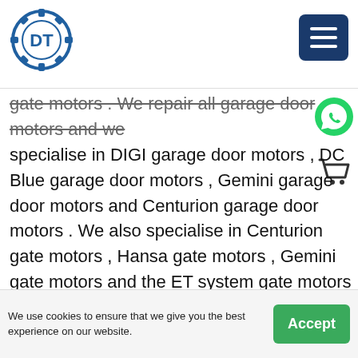[Figure (logo): Circular gear logo with 'DT' letters inside, blue color scheme]
[Figure (other): Dark blue hamburger menu button with three white horizontal lines]
gate motors . We repair all garage door motors and we specialise in DIGI garage door motors , DC Blue garage door motors , Gemini garage door motors and Centurion garage door motors . We also specialise in Centurion gate motors , Hansa gate motors , Gemini gate motors and the ET system gate motors  in : Henley On Klip
[Figure (other): Green WhatsApp phone icon]
[Figure (other): Shopping cart icon]
We repair garage doors , garage door springs ,  garage door motors and remotes . We also repair gates and gate motors . We repair all garage door motors and we specialise in DIGI garage door motors , DC Blue garage
We use cookies to ensure that we give you the best experience on our website.